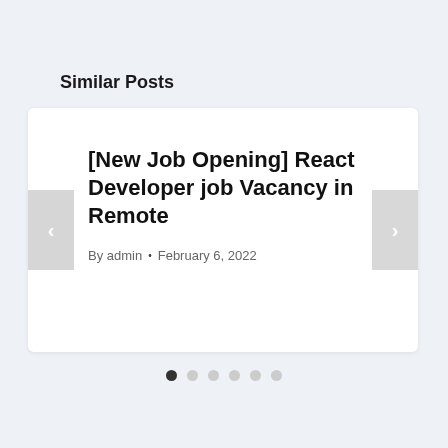Similar Posts
[New Job Opening] React Developer job Vacancy in Remote
By admin • February 6, 2022